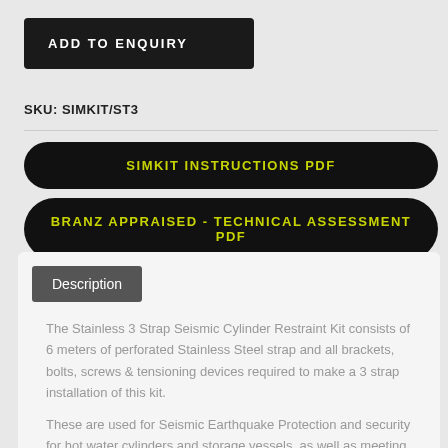ADD TO ENQUIRY
SKU: SIMKIT/ST3
SIMKIT INSTRUCTIONS PDF
BRANZ APPRAISED - TECHNICAL ASSESSMENT PDF
Description
The Stainless 3 Strap Seismic Cylinder Restraint Kit consists of 6 meters of perforated Stainless Steel strap and all brackets, bolts, screws & tensioning devices required to make a 3 strap installation of this kit.
These are used for Seismic Earthquake Protection and security for hot water cylinders and storage vessels, as well as meeting requirements for the restraint of new installations.